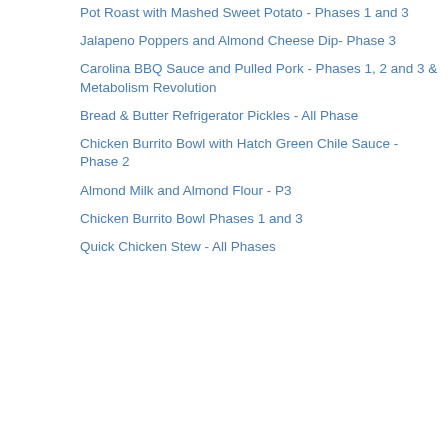Pot Roast with Mashed Sweet Potato - Phases 1 and 3
Jalapeno Poppers and Almond Cheese Dip- Phase 3
Carolina BBQ Sauce and Pulled Pork - Phases 1, 2 and 3 & Metabolism Revolution
Bread & Butter Refrigerator Pickles - All Phase
Chicken Burrito Bowl with Hatch Green Chile Sauce - Phase 2
Almond Milk and Almond Flour - P3
Chicken Burrito Bowl Phases 1 and 3
Quick Chicken Stew - All Phases